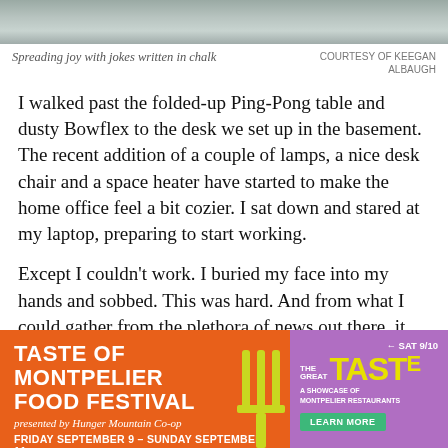[Figure (photo): Top portion of a photo showing a chalk-decorated sidewalk or pavement surface]
Spreading joy with jokes written in chalk
COURTESY OF KEEGAN ALBAUGH
I walked past the folded-up Ping-Pong table and dusty Bowflex to the desk we set up in the basement. The recent addition of a couple of lamps, a nice desk chair and a space heater have started to make the home office feel a bit cozier. I sat down and stared at my laptop, preparing to start working.
Except I couldn't work. I buried my face into my hands and sobbed. This was hard. And from what I could gather from the plethora of news out there, it wasn't ending anytime soon.
[Figure (infographic): Advertisement banner: Taste of Montpelier Food Festival presented by Hunger Mountain Co-op, Friday September 9 - Sunday September 11. SAT 9/10. The Great TASTE - A Showcase of Montpelier Restaurants. Learn More button. Orange and purple background with yellow fork graphic.]